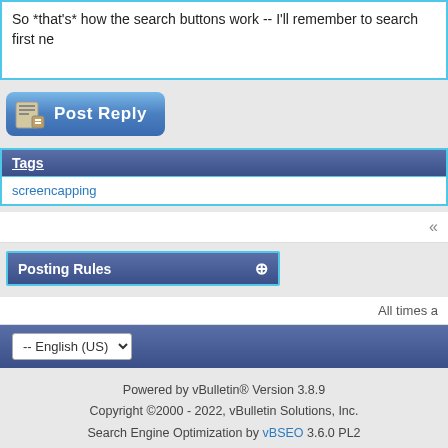So *that's* how the search buttons work -- I'll remember to search first ne
Post Reply
Tags
screencapping
«
Posting Rules
All times a
-- English (US)
Powered by vBulletin® Version 3.8.9
Copyright ©2000 - 2022, vBulletin Solutions, Inc.
Search Engine Optimization by vBSEO 3.6.0 PL2
Ad Management plugin by RedTyger
1 2 3 4 5 6 7 8 9 10 11 12 13 14 15 16 17 18 19 20